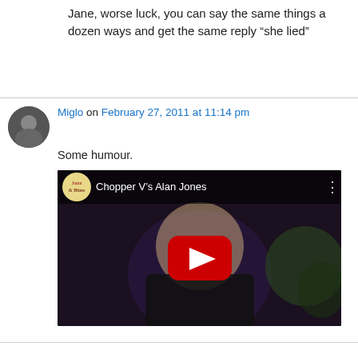Jane, worse luck, you can say the same things a dozen ways and get the same reply “she lied”
Miglo on February 27, 2011 at 11:14 pm
Some humour.
[Figure (screenshot): YouTube video thumbnail for 'Chopper V’s Alan Jones' showing a blonde woman on a TV set with a red YouTube play button overlay and the channel logo in the top left.]